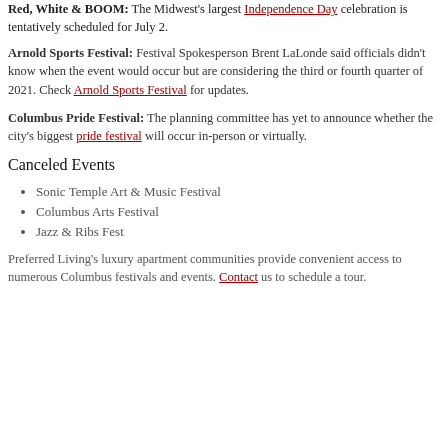Red, White & BOOM: The Midwest's largest Independence Day celebration is tentatively scheduled for July 2.
Arnold Sports Festival: Festival Spokesperson Brent LaLonde said officials didn't know when the event would occur but are considering the third or fourth quarter of 2021. Check Arnold Sports Festival for updates.
Columbus Pride Festival: The planning committee has yet to announce whether the city's biggest pride festival will occur in-person or virtually.
Canceled Events
Sonic Temple Art & Music Festival
Columbus Arts Festival
Jazz & Ribs Fest
Preferred Living's luxury apartment communities provide convenient access to numerous Columbus festivals and events. Contact us to schedule a tour.